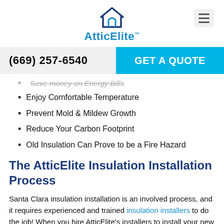AtticElite™
(669) 257-6540
GET A QUOTE
Save money on Energy Bills
Enjoy Comfortable Temperature
Prevent Mold & Mildew Growth
Reduce Your Carbon Footprint
Old Insulation Can Prove to be a Fire Hazard
The AtticElite Insulation Installation Process
Santa Clara insulation installation is an involved process, and it requires experienced and trained insulation installers to do the job! When you hire AtticElite's installers to install your new insulation, we